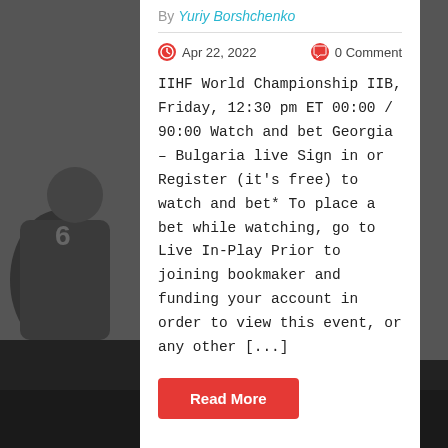By Yuriy Borshchenko
Apr 22, 2022   0 Comment
IIHF World Championship IIB, Friday, 12:30 pm ET 00:00 / 90:00 Watch and bet Georgia – Bulgaria live Sign in or Register (it's free) to watch and bet* To place a bet while watching, go to Live In-Play Prior to joining bookmaker and funding your account in order to view this event, or any other [...]
Read More